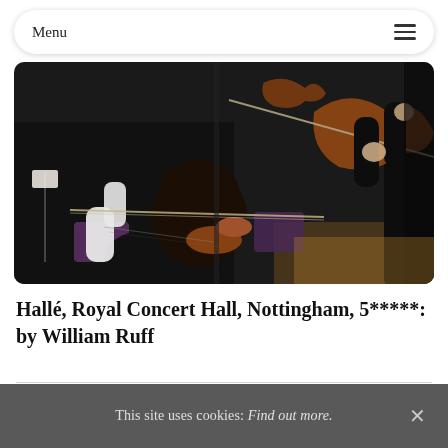Menu
[Figure (photo): Orchestra musicians playing violins on stage at a concert hall; close-up view of string section performers in formal attire.]
Hallé, Royal Concert Hall, Nottingham, 5*****: by William Ruff
This site uses cookies: Find out more.